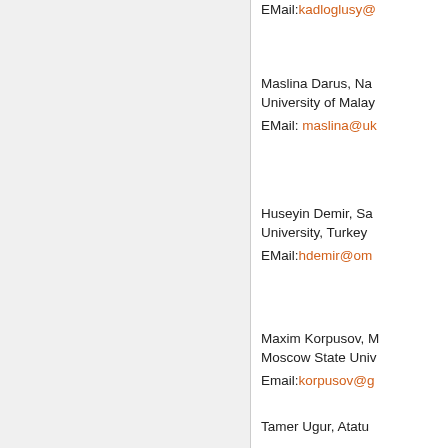EMail: kadloglusy@...
Maslina Darus, Na...
University of Malay...
EMail: maslina@uk...
Huseyin Demir, Sa...
University, Turkey
EMail: hdemir@om...
Maxim Korpusov, M...
Moscow State Univ...
Email: korpusov@g...
Tamer Ugur, Atatu...
Turkey
EMail: ...